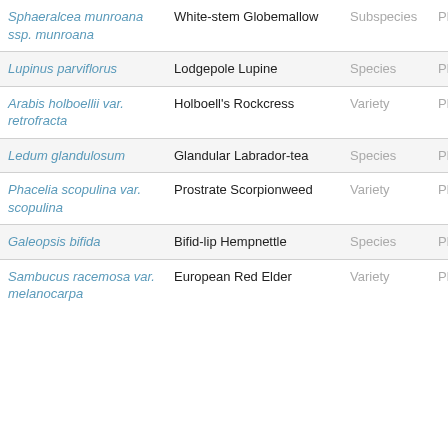| Scientific Name | Common Name | Rank | Kingdom |
| --- | --- | --- | --- |
| Sphaeralcea munroana ssp. munroana | White-stem Globemallow | Subspecies | Plant |
| Lupinus parviflorus | Lodgepole Lupine | Species | Plant |
| Arabis holboellii var. retrofracta | Holboell's Rockcress | Variety | Plant |
| Ledum glandulosum | Glandular Labrador-tea | Species | Plant |
| Phacelia scopulina var. scopulina | Prostrate Scorpionweed | Variety | Plant |
| Galeopsis bifida | Bifid-lip Hempnettle | Species | Plant |
| Sambucus racemosa var. melanocarpa | European Red Elder | Variety | Plant |